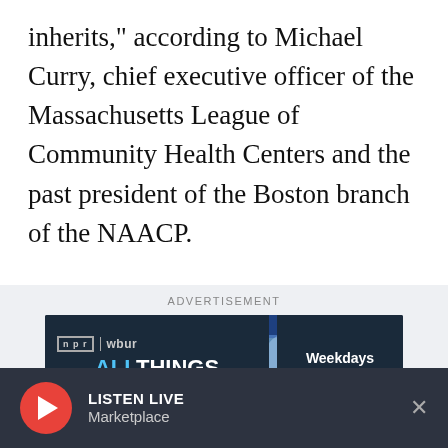inherits," according to Michael Curry, chief executive officer of the Massachusetts League of Community Health Centers and the past president of the Boston branch of the NAACP.
[Figure (infographic): WBUR NPR advertisement banner for 'All Things Considered' showing logos, blue and red graphic imagery, and text 'Weekdays 4-6:30p.m.']
Some of Wu’s plans, including making the T free and re-instituting a form of rent control, would
LISTEN LIVE
Marketplace